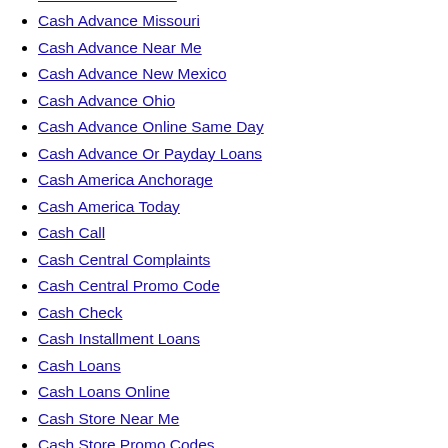Cash Advance Loan
Cash Advance Missouri
Cash Advance Near Me
Cash Advance New Mexico
Cash Advance Ohio
Cash Advance Online Same Day
Cash Advance Or Payday Loans
Cash America Anchorage
Cash America Today
Cash Call
Cash Central Complaints
Cash Central Promo Code
Cash Check
Cash Installment Loans
Cash Loans
Cash Loans Online
Cash Store Near Me
Cash Store Promo Codes
Cashcall Mortgage Login
Cashing Place
Cashnetusa Number
Cashnetusa Scam
casino
Casino Room Casino
Casinoland